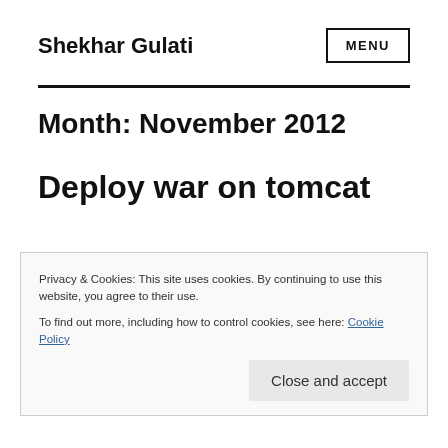Shekhar Gulati
Month: November 2012
Deploy war on tomcat
Privacy & Cookies: This site uses cookies. By continuing to use this website, you agree to their use.
To find out more, including how to control cookies, see here: Cookie Policy
Close and accept